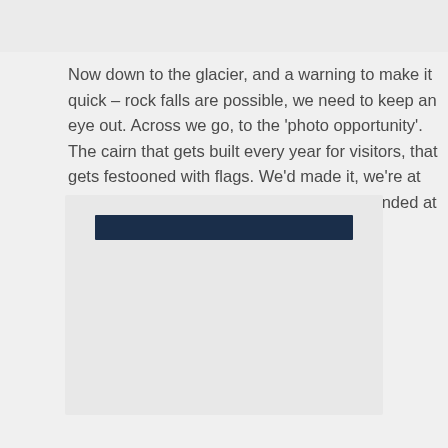Now down to the glacier, and a warning to make it quick – rock falls are possible, we need to keep an eye out. Across we go, to the 'photo opportunity'. The cairn that gets built every year for visitors, that gets festooned with flags. We'd made it, we're at 5,380, a vertical climb of 2.5km since we landed at Lukla
[Figure (photo): A large image placeholder with a dark navy blue header bar at the top, set against a light grey background.]